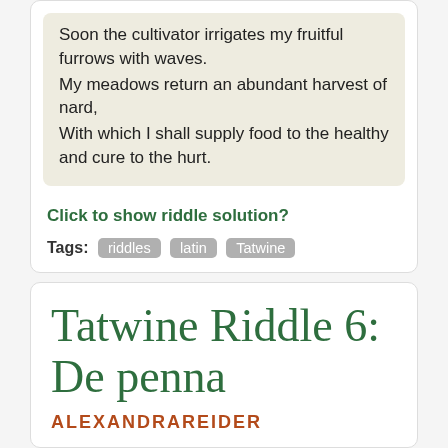Soon the cultivator irrigates my fruitful furrows with waves.
My meadows return an abundant harvest of nard,
With which I shall supply food to the healthy and cure to the hurt.
Click to show riddle solution?
Tags: riddles latin Tatwine
Tatwine Riddle 6: De penna
ALEXANDRAREIDER